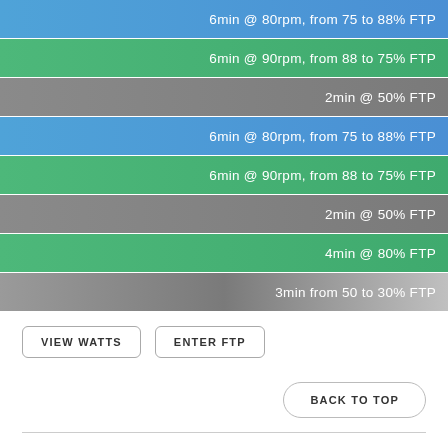6min @ 80rpm, from 75 to 88% FTP
6min @ 90rpm, from 88 to 75% FTP
2min @ 50% FTP
6min @ 80rpm, from 75 to 88% FTP
6min @ 90rpm, from 88 to 75% FTP
2min @ 50% FTP
4min @ 80% FTP
3min from 50 to 30% FTP
VIEW WATTS
ENTER FTP
BACK TO TOP
All workouts in